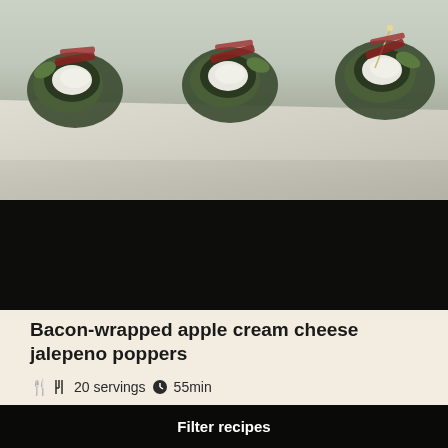[Figure (photo): Close-up photo of bacon-wrapped jalapeño poppers filled with cream cheese on parchment paper with a dark background]
Bacon-wrapped apple cream cheese jalepeno poppers
20 servings  55min
Filter recipes